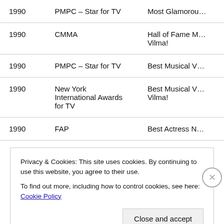| Year | Organization | Award |
| --- | --- | --- |
| 1990 | PMPC – Star for TV | Most Glamorou… |
| 1990 | CMMA | Hall of Fame M… Vilma! |
| 1990 | PMPC – Star for TV | Best Musical V… |
| 1990 | New York International Awards for TV | Best Musical V… Vilma! |
| 1990 | FAP | Best Actress N… |
Privacy & Cookies: This site uses cookies. By continuing to use this website, you agree to their use.
To find out more, including how to control cookies, see here: Cookie Policy